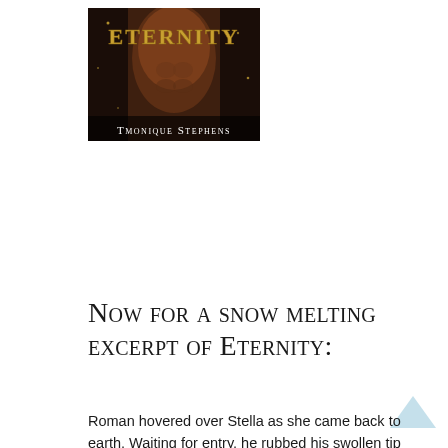[Figure (illustration): Book cover of 'Eternity' by Tmonique Stephens — dark background with a shirtless male figure, gold decorative lettering spelling ETERNITY at top, and the author name TMONIQUE STEPHENS in white serif text at bottom.]
Now for a snow melting excerpt of Eternity:
Roman hovered over Stella as she came back to earth. Waiting for entry, he rubbed his swollen tip against her opening. The coldness in his soul begged for her warmth, her slippery heat